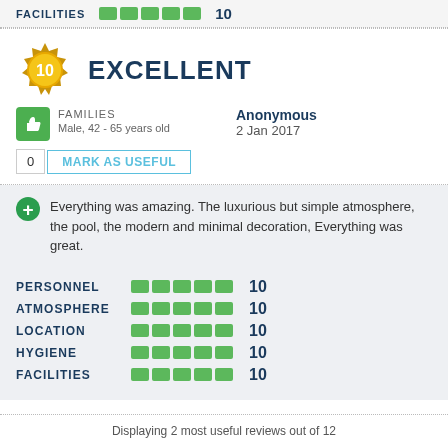[Figure (infographic): Top strip showing FACILITIES label with 5 green rating blocks and score 10]
EXCELLENT
FAMILIES
Male, 42 - 65 years old
Anonymous
2 Jan 2017
0  MARK AS USEFUL
Everything was amazing. The luxurious but simple atmosphere, the pool, the modern and minimal decoration, Everything was great.
| Category | Score |
| --- | --- |
| PERSONNEL | 10 |
| ATMOSPHERE | 10 |
| LOCATION | 10 |
| HYGIENE | 10 |
| FACILITIES | 10 |
Displaying 2 most useful reviews out of 12